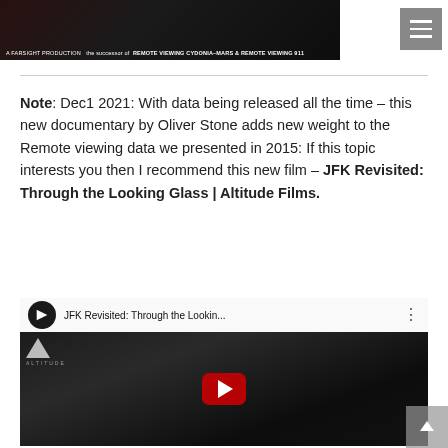[Figure (photo): Top portion of a movie/documentary poster with text 'A FARSIGHT PRODUCTION the successor of REMOTE VIEWING CYDONIA-MARS & REMOTE VIEWING 911' on dark background]
[Figure (screenshot): Hamburger menu button (three horizontal lines on grey background) in top right corner]
Note: Dec1 2021: With data being released all the time – this new documentary by Oliver Stone adds new weight to the Remote viewing data we presented in 2015: If this topic interests you then I recommend this new film – JFK Revisited: Through the Looking Glass | Altitude Films.
[Figure (screenshot): YouTube embedded video player showing 'JFK Revisited: Through the Lookin...' with Altitude Films logo, dark video thumbnail of a man in suit, and red play button]